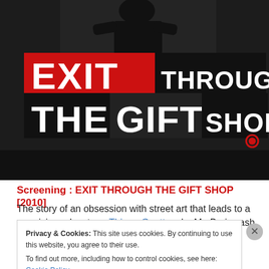[Figure (illustration): Movie poster/logo for 'Exit Through the Gift Shop' — black background with a person silhouette at top, bold text logo: 'EXIT' in red on black block, 'THROUGH' in white on black, 'THE' in white on black, 'GIFT' in white on dark block, 'SHOP.' in white on black. A red circle/registered mark symbol at bottom right.]
Screening : EXIT THROUGH THE GIFT SHOP [2010]
The story of an obsession with street art that leads to a surprising adventure. Thierry Guetta, aka Mr. Brainwash, is an eccentric French shopkeeper and amateur filmmaker who journeys to locate and befriend internationally
Privacy & Cookies: This site uses cookies. By continuing to use this website, you agree to their use.
To find out more, including how to control cookies, see here: Cookie Policy
Close and accept